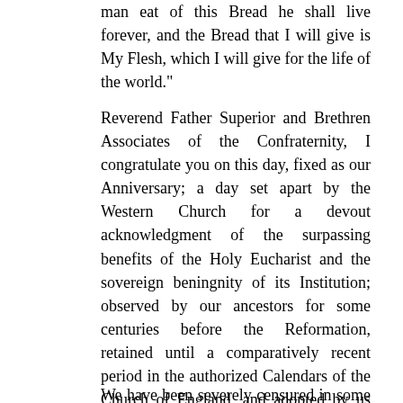man eat of this Bread he shall live forever, and the Bread that I will give is My Flesh, which I will give for the life of the world."
Reverend Father Superior and Brethren Associates of the Confraternity, I congratulate you on this day, fixed as our Anniversary; a day set apart by the Western Church for a devout acknowledgment of the surpassing benefits of the Holy Eucharist and the sovereign beningnity of its Institution; observed by our ancestors for some centuries before the Reformation, retained until a comparatively recent period in the authorized Calendars of the Church of England, and adopted by us partly on that account, and partly to show a disposition towards unity in any commendable observance, or any commendable part of an observance; however far off the probability of any real or substantial union of the great dissevered fragments of the Christian Body on the basis of Holy Scripture and the Primitive Church; for which union we yet devoutly pray, as our Saviour ever prays, and must yet as devoutly hope and believe that it will be brought about in His own good time and in His own good way.
We have been severely censured in some quarters on